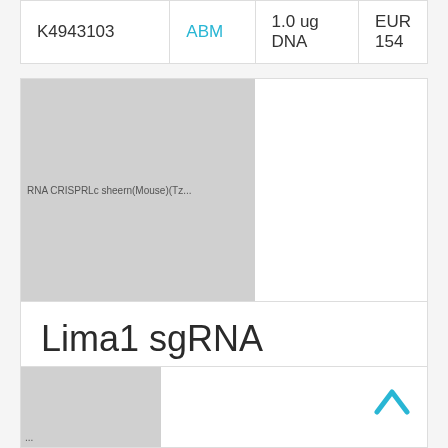| ID | Brand | Size | Price |
| --- | --- | --- | --- |
| K4943103 | ABM | 1.0 ug DNA | EUR 154 |
[Figure (photo): Gray placeholder image for Lima1 sgRNA CRISPR Lentivector (Mouse) (Target 3) product with text label]
Lima1 sgRNA CRISPR Lentivector (Mouse) (Target 3)
| ID | Brand | Size | Price |
| --- | --- | --- | --- |
| K4943104 | ABM | 1.0 ug DNA | EUR 154 |
[Figure (photo): Gray placeholder image for next product (partially visible at bottom of page)]